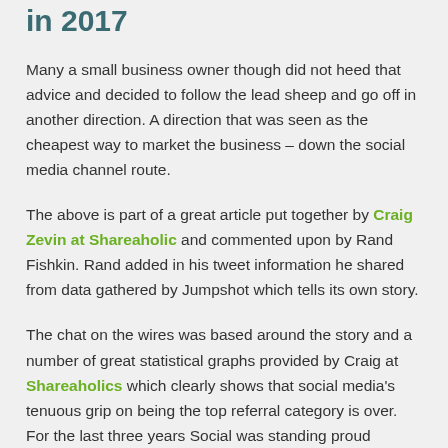in 2017
Many a small business owner though did not heed that advice and decided to follow the lead sheep and go off in another direction. A direction that was seen as the cheapest way to market the business – down the social media channel route.
The above is part of a great article put together by Craig Zevin at Shareaholic and commented upon by Rand Fishkin. Rand added in his tweet information he shared from data gathered by Jumpshot which tells its own story.
The chat on the wires was based around the story and a number of great statistical graphs provided by Craig at Shareaholics which clearly shows that social media's tenuous grip on being the top referral category is over. For the last three years Social was standing proud holding onto that crown but has had to give back the title to Search Engines. This